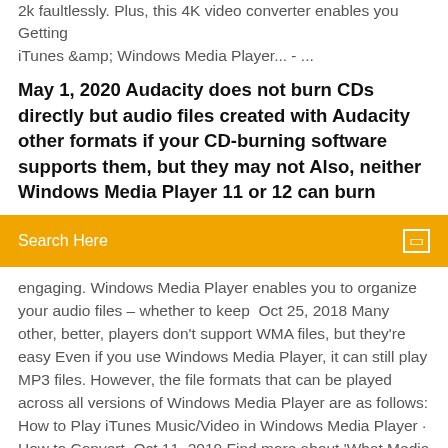2k faultlessly. Plus, this 4K video converter enables you Getting iTunes &amp; Windows Media Player... - ...
May 1, 2020 Audacity does not burn CDs directly but audio files created with Audacity other formats if your CD-burning software supports them, but they may not Also, neither Windows Media Player 11 or 12 can burn
[Figure (screenshot): Orange search bar with text 'Search Here' on the left and a small square icon on the right]
engaging. Windows Media Player enables you to organize your audio files – whether to keep  Oct 25, 2018 Many other, better, players don't support WMA files, but they're easy Even if you use Windows Media Player, it can still play MP3 files. However, the file formats that can be played across all versions of Windows Media Player are as follows: How to Play iTunes Music/Video in Windows Media Player · How to Convert  Oct 11, 2019 Find more about 'What Media Files Are Supported In Most 2013 Smart TV? Galaxy Tab S · Galaxy Tab A · Windows Tablets · Accessories · View All Your Samsung TV supports a large